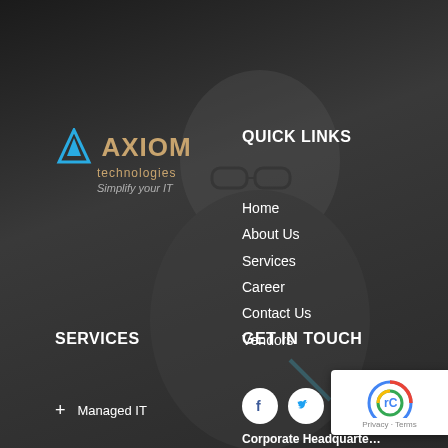[Figure (logo): Axiom Technologies logo with blue triangle icon and gold/tan text, tagline 'Simplify your IT']
QUICK LINKS
Home
About Us
Services
Career
Contact Us
Vendors
SERVICES
GET IN TOUCH
+ Managed IT
[Figure (illustration): Social media icons: Facebook, Twitter, LinkedIn in white circles]
[Figure (other): Google reCAPTCHA badge with Privacy and Terms text]
Corporate Headquarters